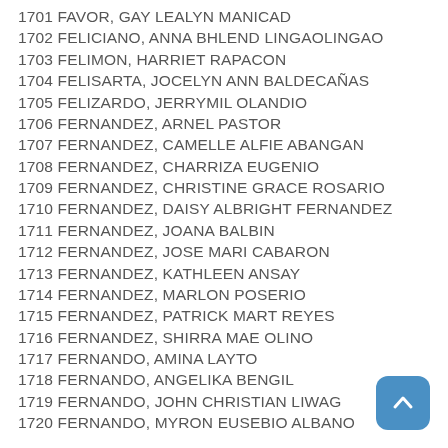1701 FAVOR, GAY LEALYN MANICAD
1702 FELICIANO, ANNA BHLEND LINGAOLINGAO
1703 FELIMON, HARRIET RAPACON
1704 FELISARTA, JOCELYN ANN BALDECAÑAS
1705 FELIZARDO, JERRYMIL OLANDIO
1706 FERNANDEZ, ARNEL PASTOR
1707 FERNANDEZ, CAMELLE ALFIE ABANGAN
1708 FERNANDEZ, CHARRIZA EUGENIO
1709 FERNANDEZ, CHRISTINE GRACE ROSARIO
1710 FERNANDEZ, DAISY ALBRIGHT FERNANDEZ
1711 FERNANDEZ, JOANA BALBIN
1712 FERNANDEZ, JOSE MARI CABARON
1713 FERNANDEZ, KATHLEEN ANSAY
1714 FERNANDEZ, MARLON POSERIO
1715 FERNANDEZ, PATRICK MART REYES
1716 FERNANDEZ, SHIRRA MAE OLINO
1717 FERNANDO, AMINA LAYTO
1718 FERNANDO, ANGELIKA BENGIL
1719 FERNANDO, JOHN CHRISTIAN LIWAG
1720 FERNANDO, MYRON EUSEBIO ALBANO